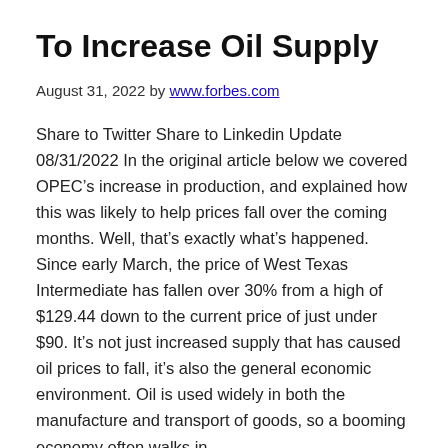To Increase Oil Supply
August 31, 2022 by www.forbes.com
Share to Twitter Share to Linkedin Update 08/31/2022 In the original article below we covered OPEC’s increase in production, and explained how this was likely to help prices fall over the coming months. Well, that’s exactly what’s happened. Since early March, the price of West Texas Intermediate has fallen over 30% from a high of $129.44 down to the current price of just under $90. It’s not just increased supply that has caused oil prices to fall, it’s also the general economic environment. Oil is used widely in both the manufacture and transport of goods, so a booming economy often walks in